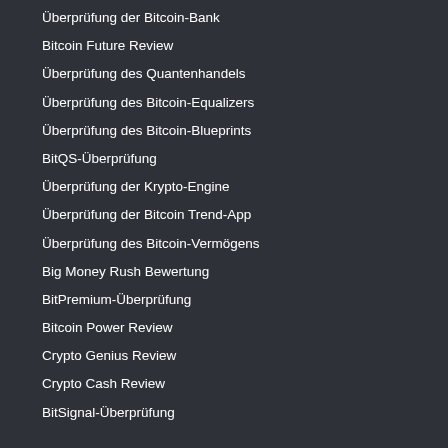Überprüfung der Bitcoin-Bank
Bitcoin Future Review
Überprüfung des Quantenhandels
Überprüfung des Bitcoin-Equalizers
Überprüfung des Bitcoin-Blueprints
BitQS-Überprüfung
Überprüfung der Krypto-Engine
Überprüfung der Bitcoin Trend-App
Überprüfung des Bitcoin-Vermögens
Big Money Rush Bewertung
BitPremium-Überprüfung
Bitcoin Power Review
Crypto Genius Review
Crypto Cash Review
BitSignal-Überprüfung